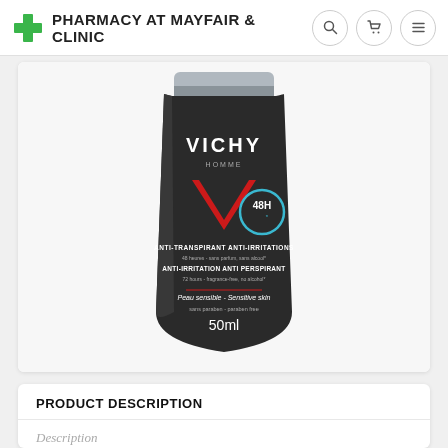PHARMACY AT MAYFAIR & CLINIC
[Figure (photo): Vichy Homme anti-transpirant anti-irritations 48H deodorant roll-on, 50ml, black container for sensitive skin, paraben free]
PRODUCT DESCRIPTION
Description